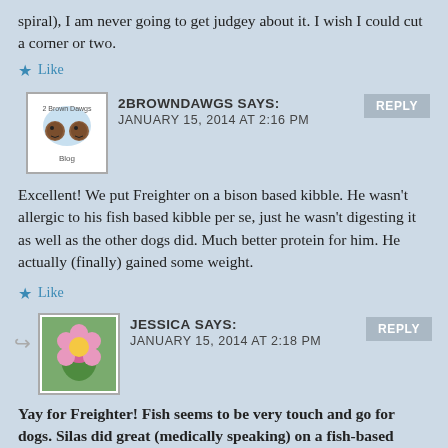spiral), I am never going to get judgey about it. I wish I could cut a corner or two.
★ Like
2BROWNDAWGS SAYS: JANUARY 15, 2014 AT 2:16 PM
Excellent! We put Freighter on a bison based kibble. He wasn't allergic to his fish based kibble per se, just he wasn't digesting it as well as the other dogs did. Much better protein for him. He actually (finally) gained some weight.
★ Like
JESSICA SAYS: JANUARY 15, 2014 AT 2:18 PM
Yay for Freighter! Fish seems to be very touch and go for dogs. Silas did great (medically speaking) on a fish-based kibble for a while, but he hated the taste and lost a lot of weight.